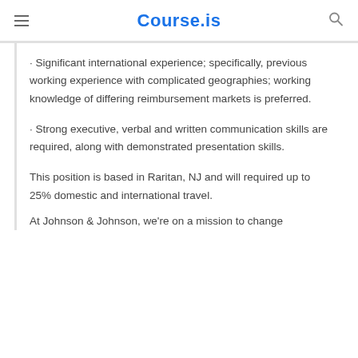Course.is
· Significant international experience; specifically, previous working experience with complicated geographies; working knowledge of differing reimbursement markets is preferred.
· Strong executive, verbal and written communication skills are required, along with demonstrated presentation skills.
This position is based in Raritan, NJ and will required up to 25% domestic and international travel.
At Johnson & Johnson, we're on a mission to change